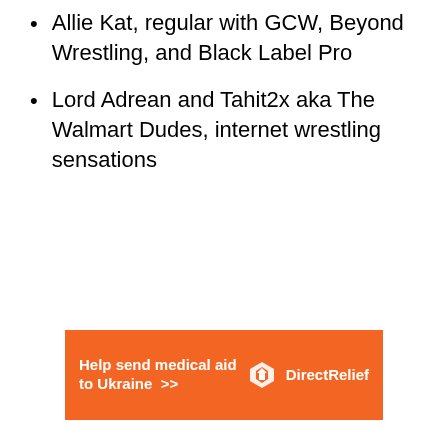Allie Kat, regular with GCW, Beyond Wrestling, and Black Label Pro
Lord Adrean and Tahit2x aka The Walmart Dudes, internet wrestling sensations
[Figure (infographic): Orange advertisement banner for Direct Relief: 'Help send medical aid to Ukraine >>' with Direct Relief logo on the right.]